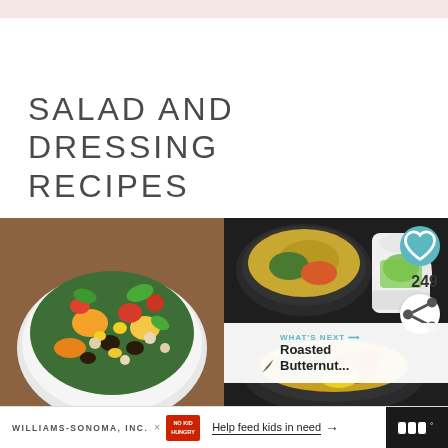SALAD AND DRESSING RECIPES
[Figure (photo): Bowl of colorful salad with black-eyed peas, corn, peppers, tomatoes, and greens]
[Figure (photo): Dark bowl of grain salad with vegetables and dressing on a dark background, with UI overlay showing heart icon, 249 count, share button, and 'What's Next: Roasted Butternut...' suggestion]
WILLIAMS-SONOMA, INC. × NO KID HUNGRY  Help feed kids in need →